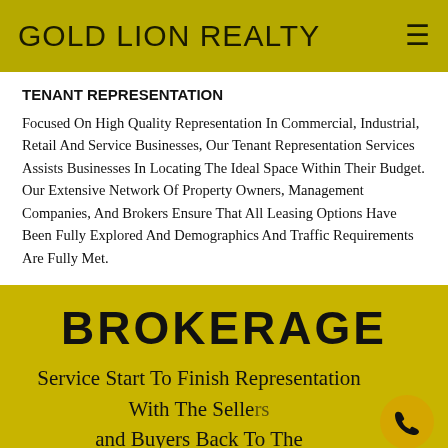GOLD LION REALTY
TENANT REPRESENTATION
Focused On High Quality Representation In Commercial, Industrial, Retail And Service Businesses, Our Tenant Representation Services Assists Businesses In Locating The Ideal Space Within Their Budget. Our Extensive Network Of Property Owners, Management Companies, And Brokers Ensure That All Leasing Options Have Been Fully Explored And Demographics And Traffic Requirements Are Fully Met.
BROKERAGE
Service Start To Finish Representation With The Sellers and Buyers Back To The